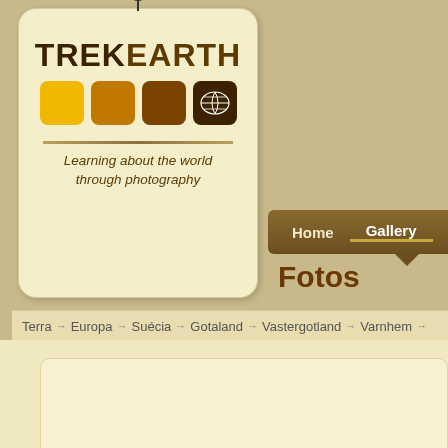[Figure (logo): TrekEarth logo tag with colored squares and world map icon, tagline: Learning about the world through photography]
Home   Gallery   Forums   C...
Fotos
Terra → Europa → Suécia → Gotaland → Vastergotland → Varnhem →
::: Varnhem m
[Figure (photo): Partial photo thumbnail visible at bottom of page]